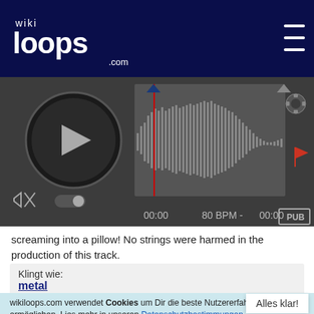[Figure (screenshot): wikiloops.com logo on dark navy header with hamburger menu icon]
[Figure (screenshot): Audio player with play button, waveform display showing 80 BPM track, time 00:00 on both sides, mute icon, toggle switch, gear icon, red flag marker, and PUB button]
screaming into a pillow! No strings were harmed in the production of this track.
Klingt wie:
metal
wikiloops.com verwendet Cookies um Dir die beste Nutzererfahrung zu ermöglichen. Lies mehr in unseren Datenschutzbestimmungen .
Alles klar!